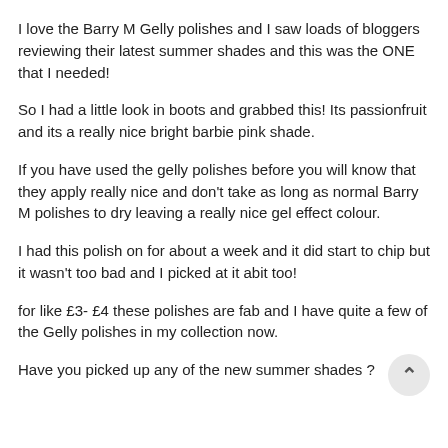I love the Barry M Gelly polishes and I saw loads of bloggers reviewing their latest summer shades and this was the ONE that I needed!
So I had a little look in boots and grabbed this! Its passionfruit and its a really nice bright barbie pink shade.
If you have used the gelly polishes before you will know that they apply really nice and don't take as long as normal Barry M polishes to dry leaving a really nice gel effect colour.
I had this polish on for about a week and it did start to chip but it wasn't too bad and I picked at it abit too!
for like £3- £4 these polishes are fab and I have quite a few of the Gelly polishes in my collection now.
Have you picked up any of the new summer shades ?